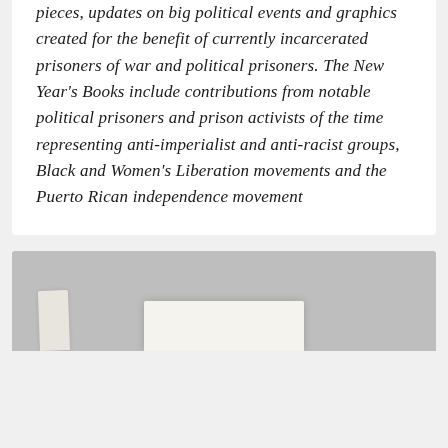pieces, updates on big political events and graphics created for the benefit of currently incarcerated prisoners of war and political prisoners. The New Year's Books include contributions from notable political prisoners and prison activists of the time representing anti-imperialist and anti-racist groups, Black and Women's Liberation movements and the Puerto Rican independence movement
[Figure (photo): Photograph showing what appears to be paper documents or a book on a gray surface, partially visible at the bottom of the image]